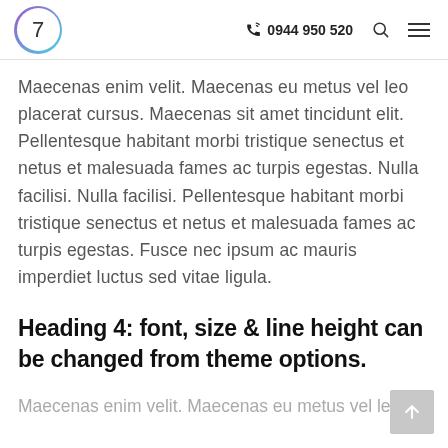7  0944 950 520
Maecenas enim velit. Maecenas eu metus vel leo placerat cursus. Maecenas sit amet tincidunt elit. Pellentesque habitant morbi tristique senectus et netus et malesuada fames ac turpis egestas. Nulla facilisi. Nulla facilisi. Pellentesque habitant morbi tristique senectus et netus et malesuada fames ac turpis egestas. Fusce nec ipsum ac mauris imperdiet luctus sed vitae ligula.
Heading 4: font, size & line height can be changed from theme options.
Maecenas enim velit. Maecenas eu metus vel leo